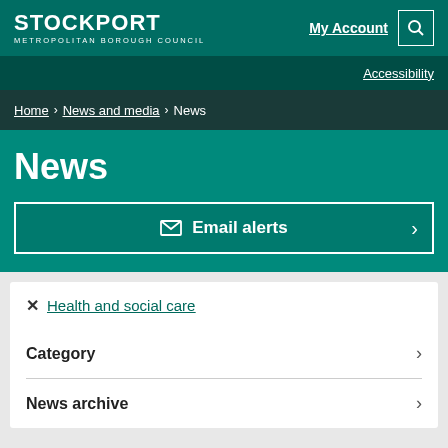STOCKPORT METROPOLITAN BOROUGH COUNCIL
My Account
Accessibility
Home › News and media › News
News
✉ Email alerts
✕ Health and social care
Category ›
News archive ›